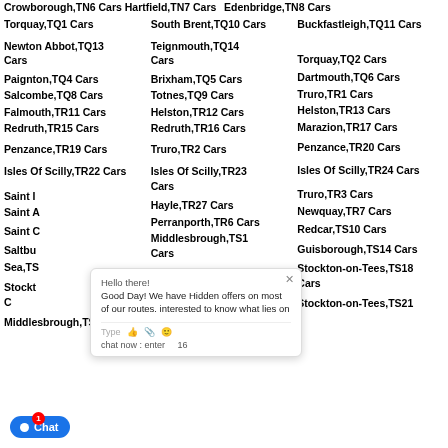Crowborough,TN6 Cars Hartfield,TN7 Cars Edenbridge,TN8 Cars
Torquay,TQ1 Cars
South Brent,TQ10 Cars
Buckfastleigh,TQ11 Cars
Newton Abbot,TQ13 Cars
Teignmouth,TQ14 Cars
Torquay,TQ2 Cars
Paignton,TQ4 Cars
Brixham,TQ5 Cars
Dartmouth,TQ6 Cars
Salcombe,TQ8 Cars
Totnes,TQ9 Cars
Truro,TR1 Cars
Falmouth,TR11 Cars
Helston,TR12 Cars
Helston,TR13 Cars
Redruth,TR15 Cars
Redruth,TR16 Cars
Marazion,TR17 Cars
Penzance,TR19 Cars
Truro,TR2 Cars
Penzance,TR20 Cars
Isles Of Scilly,TR22 Cars
Isles Of Scilly,TR23 Cars
Isles Of Scilly,TR24 Cars
Saint Ives,TR26 Cars
Hayle,TR27 Cars
Truro,TR3 Cars
Saint Agnes,TR5 Cars
Perranporth,TR6 Cars
Newquay,TR7 Cars
Saint Columb Major,TR9 Cars
Middlesbrough,TS1 Cars
Redcar,TS10 Cars
Saltburn-by-the-Sea,TS12 Cars
Saltburn-by-the-Sea,TS13 Cars
Guisborough,TS14 Cars
Stockton-on-Tees,TS16 Cars
Stockton-on-Tees,TS17 Cars
Stockton-on-Tees,TS18 Cars
Middlesbrough,TS2 Cars
Stockton-on-Tees,TS21 Cars